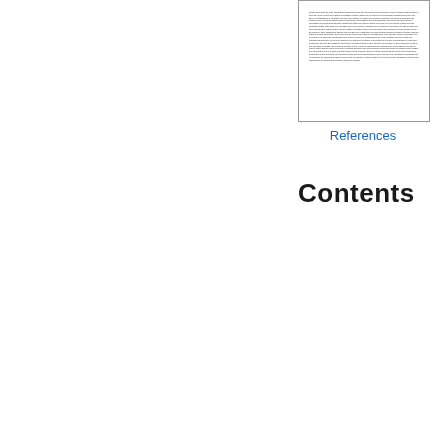[Figure (screenshot): Thumbnail image of a text document page with dense text]
References
Contents
| Chapter | Page | Chapter | Page |
| --- | --- | --- | --- |
| Th | 1 | Glc | 178 |
| Pri | 9 | Re | 186 |
| Int | 15 | Co | 192 |
| Co | 21 | Me | 199 |
| Glc | 26 | Vie | 205 |
| Int | 35 | Co | 213 |
| Re | 43 | Na | 219 |
| Re | 53 | Th | 225 |
| Re | 61 | Ad | 235 |
| Co | 68 | Co | 241 |